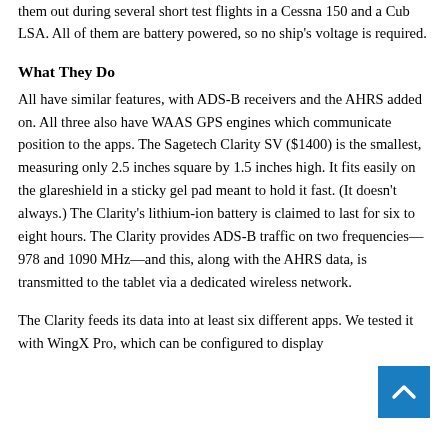them out during several short test flights in a Cessna 150 and a Cub LSA. All of them are battery powered, so no ship's voltage is required.
What They Do
All have similar features, with ADS-B receivers and the AHRS added on. All three also have WAAS GPS engines which communicate position to the apps. The Sagetech Clarity SV ($1400) is the smallest, measuring only 2.5 inches square by 1.5 inches high. It fits easily on the glareshield in a sticky gel pad meant to hold it fast. (It doesn't always.) The Clarity's lithium-ion battery is claimed to last for six to eight hours. The Clarity provides ADS-B traffic on two frequencies—978 and 1090 MHz—and this, along with the AHRS data, is transmitted to the tablet via a dedicated wireless network.
The Clarity feeds its data into at least six different apps. We tested it with WingX Pro, which can be configured to display